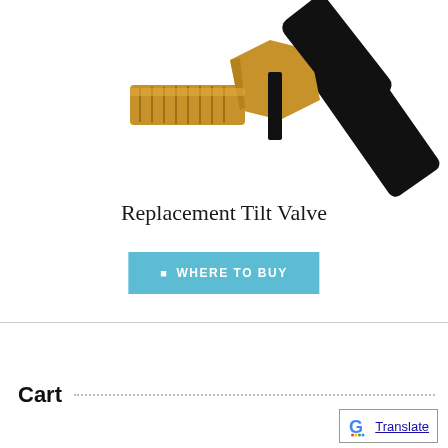[Figure (photo): Close-up photo of a brass replacement tilt valve with threaded fitting and black rubber hose/body, shown diagonally against a white background.]
Replacement Tilt Valve
WHERE TO BUY
Cart
[Figure (logo): Google Translate widget button with G logo and 'Translate' text underlined.]